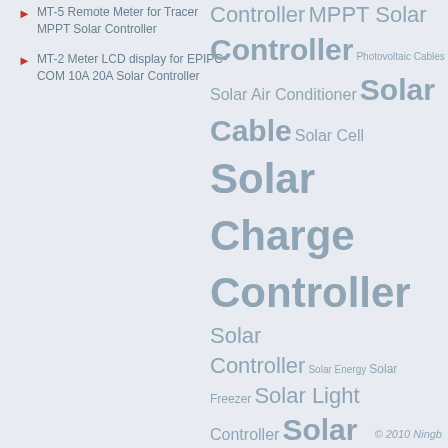MT-5 Remote Meter for Tracer MPPT Solar Controller
MT-2 Meter LCD display for EPIPC-COM 10A 20A Solar Controller
[Figure (infographic): Tag cloud of solar energy product keywords with varying font sizes indicating frequency/importance. Terms include: Controller MPPT Solar Controller, Photovoltaic Cables, Solar Air Conditioner, Solar Cable, Solar Cell, Solar Charge Controller, Solar Controller, Solar Energy, Solar Freezer, Solar Light Controller, Solar Panel, Solar Refrigerator, Solar Water Heater, ViewStar Solar Controllers, Wincong Solar Controller, wind generator, Wind Turbine]
© 2010 Ningb